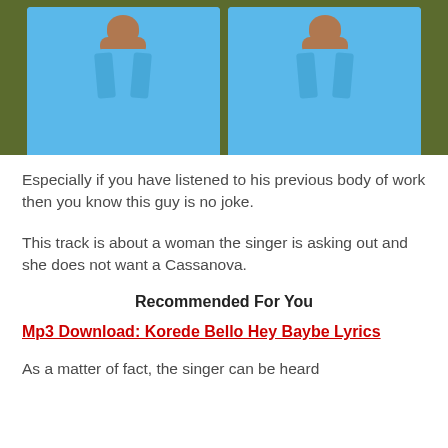[Figure (photo): Two side-by-side photos of a person wearing a light blue suit against an olive/dark green background, cropped at the top of the page]
Especially if you have listened to his previous body of work then you know this guy is no joke.
This track is about a woman the singer is asking out and she does not want a Cassanova.
Recommended For You
Mp3 Download: Korede Bello Hey Baybe Lyrics
As a matter of fact, the singer can be heard